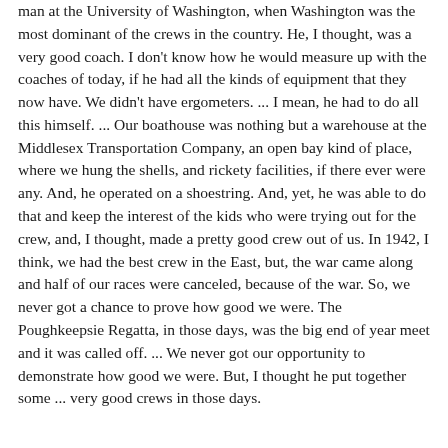man at the University of Washington, when Washington was the most dominant of the crews in the country. He, I thought, was a very good coach. I don't know how he would measure up with the coaches of today, if he had all the kinds of equipment that they now have. We didn't have ergometers. ... I mean, he had to do all this himself. ... Our boathouse was nothing but a warehouse at the Middlesex Transportation Company, an open bay kind of place, where we hung the shells, and rickety facilities, if there ever were any. And, he operated on a shoestring. And, yet, he was able to do that and keep the interest of the kids who were trying out for the crew, and, I thought, made a pretty good crew out of us. In 1942, I think, we had the best crew in the East, but, the war came along and half of our races were canceled, because of the war. So, we never got a chance to prove how good we were. The Poughkeepsie Regatta, in those days, was the big end of year meet and it was called off. ... We never got our opportunity to demonstrate how good we were. But, I thought he put together some ... very good crews in those days.